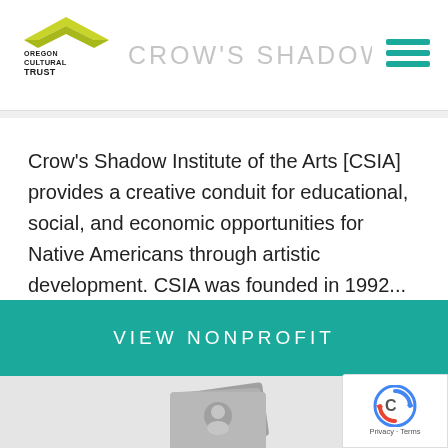CROW'S SHADOW INSTITUTE
Crow's Shadow Institute of the Arts [CSIA] provides a creative conduit for educational, social, and economic opportunities for Native Americans through artistic development. CSIA was founded in 1992...
VIEW NONPROFIT
[Figure (illustration): Photo placeholder icon — stacked image/photo cards in gray]